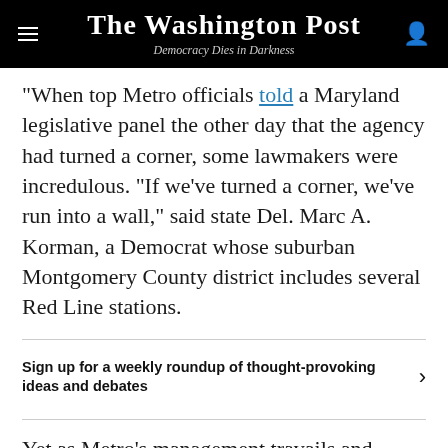The Washington Post — Democracy Dies in Darkness
When top Metro officials told a Maryland legislative panel the other day that the agency had turned a corner, some lawmakers were incredulous. “If we’ve turned a corner, we’ve run into a wall,” said state Del. Marc A. Korman, a Democrat whose suburban Montgomery County district includes several Red Line stations.
Sign up for a weekly roundup of thought-provoking ideas and debates
Yet as Metro’s management travails and safety lapses continue to mount, the most worrying of its challenges, a budget implosion looming next year, goes all but undiscussed — including by the system’s top